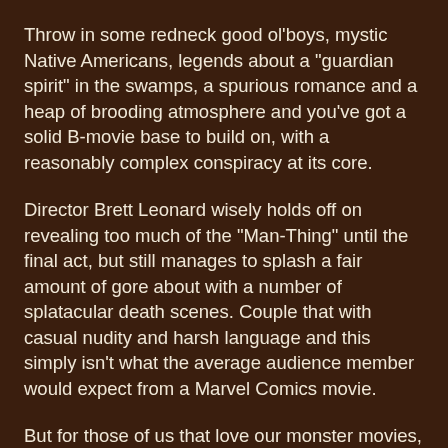Throw in some redneck good ol'boys, mystic Native Americans, legends about a "guardian spirit" in the swamps, a spurious romance and a heap of brooding atmosphere and you've got a solid B-movie base to build on, with a reasonably complex conspiracy at its core.
Director Brett Leonard wisely holds off on revealing too much of the "Man-Thing" until the final act, but still manages to splash a fair amount of gore about with a number of splatacular death scenes. Couple that with casual nudity and harsh language and this simply isn't what the average audience member would expect from a Marvel Comics movie.
But for those of us that love our monster movies, Man-Thing delivers the goods without being stupid, dull or boring.
While comic book fans may not recognise the movie Man-Thing as the one they know from the comics, writer Hans Rodionoff acknowledges his sources by naming several characters after prominent creators from Man-Thing's comic